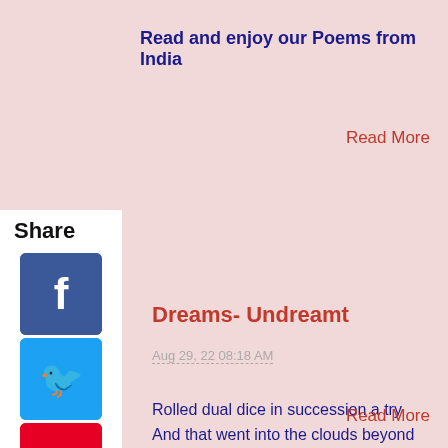Read and enjoy our Poems from India
Read More
Dreams- Undreamt
Aug 29, 22 08:18 AM
Rolled dual dice in succession a try And that went into the clouds beyond the sky Merged into the clouds and vanished into the rain. I scribbled the
Read More
Hopelessly hoping